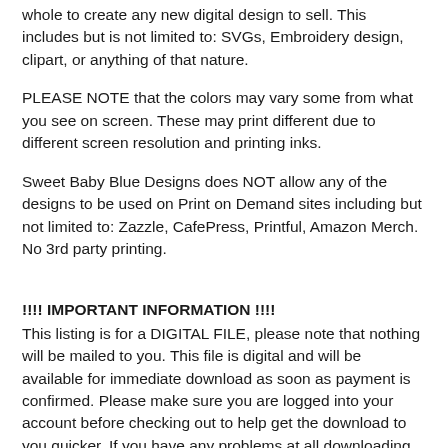whole to create any new digital design to sell. This includes but is not limited to: SVGs, Embroidery design, clipart, or anything of that nature.
PLEASE NOTE that the colors may vary some from what you see on screen. These may print different due to different screen resolution and printing inks.
Sweet Baby Blue Designs does NOT allow any of the designs to be used on Print on Demand sites including but not limited to: Zazzle, CafePress, Printful, Amazon Merch. No 3rd party printing.
!!!! IMPORTANT INFORMATION !!!!
This listing is for a DIGITAL FILE, please note that nothing will be mailed to you. This file is digital and will be available for immediate download as soon as payment is confirmed. Please make sure you are logged into your account before checking out to help get the download to you quicker. If you have any problems at all downloading your file please reach out to me and I will be sure you get your file asap!